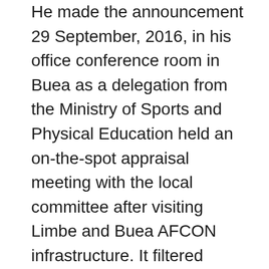He made the announcement 29 September, 2016, in his office conference room in Buea as a delegation from the Ministry of Sports and Physical Education held an on-the-spot appraisal meeting with the local committee after visiting Limbe and Buea AFCON infrastructure. It filtered during the Buea meeting that some CFA 14 Million has been allocated for the AFCON Villages. Tents, electric generators and other material were promised to come from Yaounde any time soon. Given the nearness of the event, the Limbe based Parliamentarian, Mrs. Gladys Etombi, expressed worry if AFCON Village goals will be attained because, according to her, the budget had been drastically slashed from an earlier projected CFA 100 Million. The Government Delegate to the